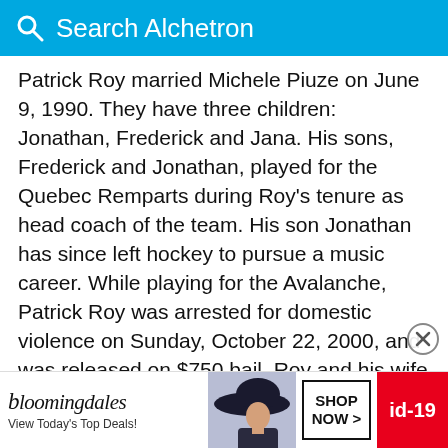Search Alchetron
Patrick Roy married Michele Piuze on June 9, 1990. They have three children: Jonathan, Frederick and Jana. His sons, Frederick and Jonathan, played for the Quebec Remparts during Roy's tenure as head coach of the team. His son Jonathan has since left hockey to pursue a music career. While playing for the Avalanche, Patrick Roy was arrested for domestic violence on Sunday, October 22, 2000, and was released on $750 bail. Roy and his wife were in an argument, and his wife made a hangup call to 911. Police found physical damage to the house and took Roy into custody. Roy w... presid... a not
[Figure (screenshot): Bloomingdales advertisement banner at bottom of page showing logo, woman with hat, SHOP NOW button, and id-19 badge]